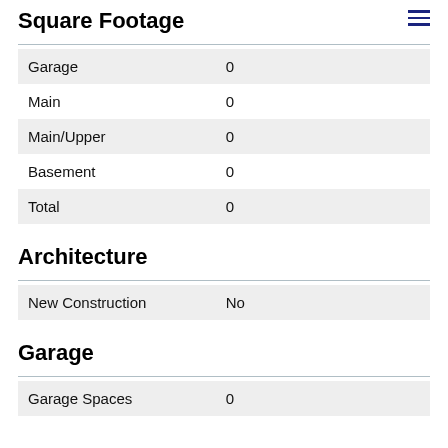Square Footage
| Garage | 0 |
| Main | 0 |
| Main/Upper | 0 |
| Basement | 0 |
| Total | 0 |
Architecture
| New Construction | No |
Garage
| Garage Spaces | 0 |